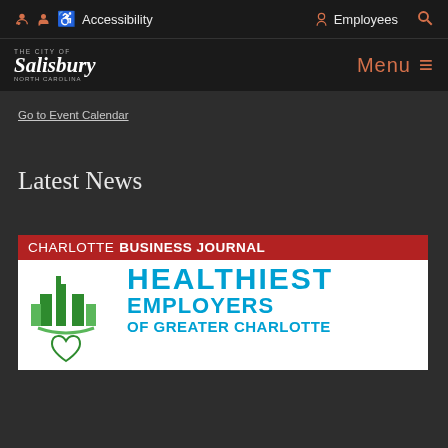Accessibility   Employees   Search
The City of Salisbury North Carolina   Menu
Go to Event Calendar
Latest News
[Figure (logo): Charlotte Business Journal Healthiest Employers of Greater Charlotte logo banner. Red bar at top with 'CHARLOTTE BUSINESS JOURNAL' text, white area below with green city skyline/heart logo on left and blue bold text 'HEALTHIEST EMPLOYERS OF GREATER CHARLOTTE' on right.]